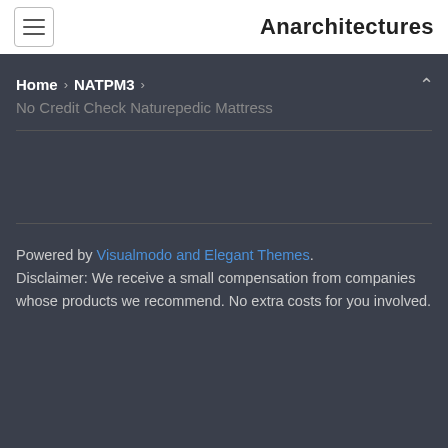Anarchitectures
Home › NATPM3 ›
No Credit Check Naturepedic Mattress
Powered by Visualmodo and Elegant Themes. Disclaimer: We receive a small compensation from companies whose products we recommend. No extra costs for you involved.